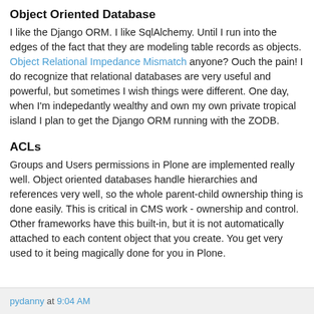Object Oriented Database
I like the Django ORM. I like SqlAlchemy. Until I run into the edges of the fact that they are modeling table records as objects. Object Relational Impedance Mismatch anyone? Ouch the pain! I do recognize that relational databases are very useful and powerful, but sometimes I wish things were different. One day, when I'm indepedantly wealthy and own my own private tropical island I plan to get the Django ORM running with the ZODB.
ACLs
Groups and Users permissions in Plone are implemented really well. Object oriented databases handle hierarchies and references very well, so the whole parent-child ownership thing is done easily. This is critical in CMS work - ownership and control. Other frameworks have this built-in, but it is not automatically attached to each content object that you create. You get very used to it being magically done for you in Plone.
pydanny at 9:04 AM